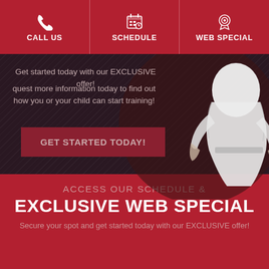CALL US | SCHEDULE | WEB SPECIAL
Get started today with our EXCLUSIVE offer! Request more information today to find out how you or your child can start training!
GET STARTED TODAY!
[Figure (photo): Martial arts practitioner in white gi uniform]
ACCESS OUR SCHEDULE &
EXCLUSIVE WEB SPECIAL
Secure your spot and get started today with our EXCLUSIVE offer!